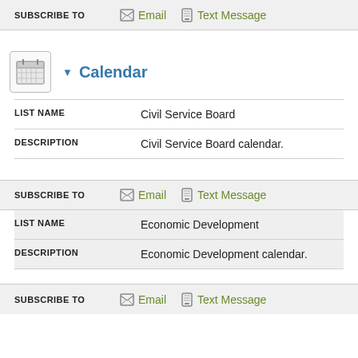SUBSCRIBE TO  Email  Text Message
▼ Calendar
| FIELD | VALUE |
| --- | --- |
| LIST NAME | Civil Service Board |
| DESCRIPTION | Civil Service Board calendar. |
SUBSCRIBE TO  Email  Text Message
| FIELD | VALUE |
| --- | --- |
| LIST NAME | Economic Development |
| DESCRIPTION | Economic Development calendar. |
SUBSCRIBE TO  Email  Text Message